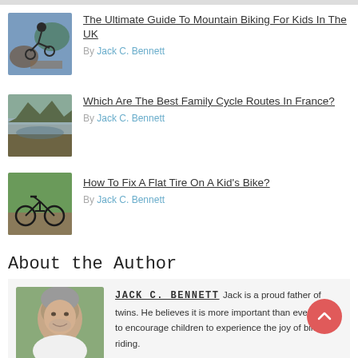[Figure (photo): Partial grey bar at top of page]
[Figure (photo): Child on mountain bike jumping, outdoor setting]
The Ultimate Guide To Mountain Biking For Kids In The UK
By Jack C. Bennett
[Figure (photo): Landscape with rocky terrain and water reflection]
Which Are The Best Family Cycle Routes In France?
By Jack C. Bennett
[Figure (photo): Road bicycle leaning against green foliage]
How To Fix A Flat Tire On A Kid's Bike?
By Jack C. Bennett
About the Author
[Figure (photo): Headshot of a man with grey hair, smiling, wearing white shirt]
JACK C. BENNETT  Jack is a proud father of twins. He believes it is more important than ever before to encourage children to experience the joy of bike riding.